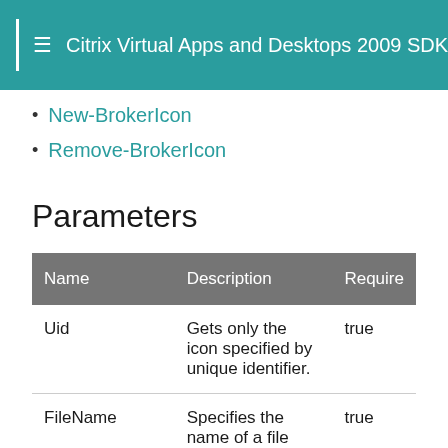Citrix Virtual Apps and Desktops 2009 SDK D
New-BrokerIcon
Remove-BrokerIcon
Parameters
| Name | Description | Required |
| --- | --- | --- |
| Uid | Gets only the icon specified by unique identifier. | true |
| FileName | Specifies the name of a file from which to read the icon data. If the | true |